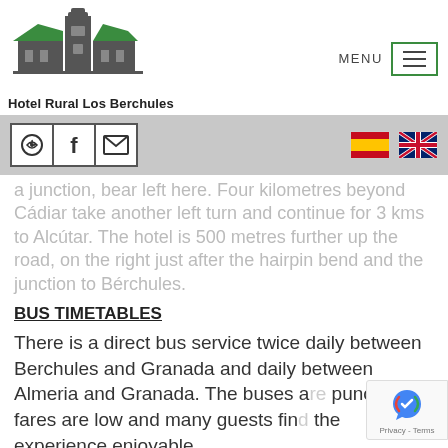[Figure (logo): Hotel Rural Los Berchules logo - lighthouse/building silhouette in dark grey and green with text 'Hotel Rural Los Berchules' below]
[Figure (infographic): Navigation bar with social icons (WhatsApp, Facebook, email) and flag icons (Spanish, UK)]
a junction, bear left here. Four kilometres beyond Cádiar take another left turn and continue for 3 kms to Alcútar. The hotel is 500 metres further up the road, on the right just after the hairpin bend and the junction to Bérchules.
BUS TIMETABLES
There is a direct bus service twice daily between Berchules and Granada and daily between Almeria and Granada. The buses are punctual, fares are low and many guests find the experience enjoyable.